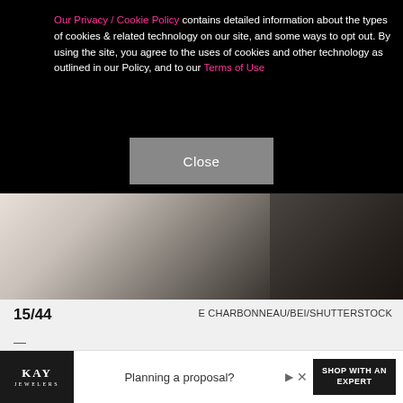Our Privacy / Cookie Policy contains detailed information about the types of cookies & related technology on our site, and some ways to opt out. By using the site, you agree to the uses of cookies and other technology as outlined in our Policy, and to our Terms of Use
Close
[Figure (photo): Partial view of two people at a red carpet/premiere event, partially obscured by the cookie consent overlay]
15/44
E CHARBONNEAU/BEI/SHUTTERSTOCK
—
Could they be any cuter? Jennifer Garner posed for photos with Mark Ruffalo, her adorable "13 Going on 30" co-star, during the rom-com's Los Angeles premiere in 2004. Luckily for us, this wasn't the last time they'd play love interests...more on that later!
Planning a proposal? SHOP WITH AN EXPERT